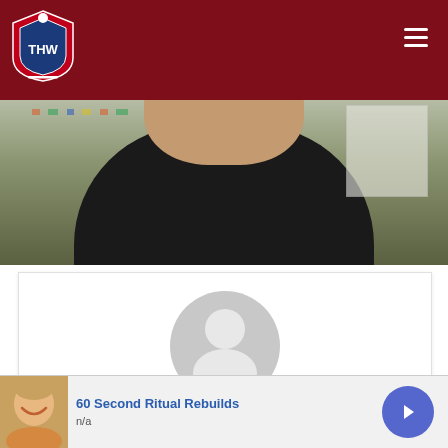THW - The Hockey Writers
[Figure (photo): Cropped photo of a person wearing a black t-shirt, seated, with a whiteboard visible in background.]
[Figure (illustration): Generic grey user avatar / profile placeholder icon (circle head and shoulders silhouette).]
Pete Bauer
Pete Bauer is both a hockey fan and player. As a columnist for The Hockey Writers.com, he covers the Columbus Blue Jackets, NCAA
[Figure (photo): Advertisement banner: thumbnail of a smiling face, text '60 Second Ritual Rebuilds', subtext 'n/a', with a purple circular arrow button.]